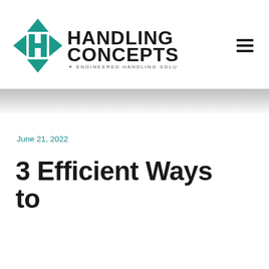Handling Concepts — Engineered Handling Solutions
June 21, 2022
3 Efficient Ways to